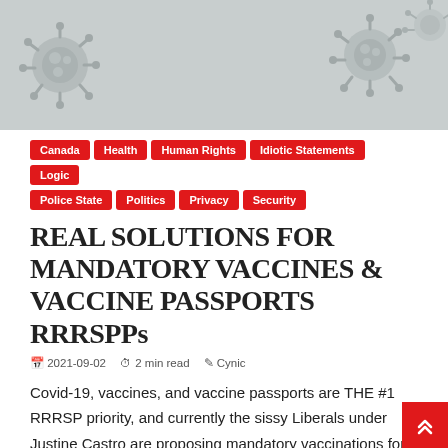[Figure (photo): Header background image showing grey coronavirus/virus particles on a light grey background]
Canada
Health
Human Rights
Idiotic Statements
Logic
Police State
Politics
Privacy
Security
REAL SOLUTIONS FOR MANDATORY VACCINES & VACCINE PASSPORTS RRRSPPs
2021-09-02   2 min read   Cynic
Covid-19, vaccines, and vaccine passports are THE #1 RRRSP priority, and currently the sissy Liberals under Justine Castro are proposing mandatory vaccinations for people and
Read More